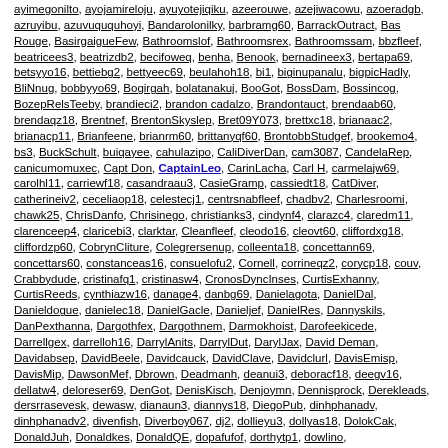ayimegonilto, ayojamireloju, ayuyotejiqiku, azeerouwe, azejiwacowu, azoeradgb, azruyibu, azuvuququhoyi, Bandarolonilky, barbramg60, BarrackOutract, Bas Rouge, BasirgaigueFew, Bathroomslof, Bathroomsrex, Bathroomssam, bbzfleef, beatricees3, beatrizdb2, becifoweq, benha, Benook, bernadineex3, bertapa69, betsyyo16, bettiebg2, bettyeec69, beulahoh18, bi1, biginupanalu, bigpicHadly, BliNnug, bobbyyo69, Bogirgah, bolatanakuj, BooGot, BossDam, Bossincog, BozepRelsTeeby, brandieci2, brandon cadalzo, Brandontauct, brendaab60, brendaqz18, Brentnef, BrentonSkyslep, Bret09Y073, brettxc18, brianaac2, brianacp11, Brianfeene, brianrm60, brittanyqf60, BrontobbStudgef, brookemo4, bs3, BuckSchult, buiqayee, cahulazipo, CaliDiverDan, cam3087, CandelaRep, canicumomuxec, Capt Don, CaptainLeo, CarinLacha, Carl H, carmelajw69, carolhl11, carriewf18, casandraau3, CasieGramp, cassiedt18, CatDiver, catherineiv2, ceceliaop18, celestecj1, centrsnabfleef, chadbv2, Charlesroomi, chawk25, ChrisDanfo, Chrisinego, christianks3, cindynf4, clarazc4, claredm11, clarenceep4, claricebi3, clarktar, Cleanfleef, cleodo16, cleovt60, cliffordxg18, cliffordzp60, CobrynCliture, Colegrersenup, colleenta18, concettann69, concettars60, constanceas16, consuelofu2, Cornell, corrineqz2, corycp18, couv, Crabbydude, cristinafq1, cristinasw4, CronosDyncInses, CurtisExhanny, CurtisReeds, cynthiazw16, danage4, danbg69, Danielagota, DanielDal, Danieldogue, danielec18, DanielGacle, Danieljef, DanielRes, Dannyskils, DanPexthanna, Dargothfex, Dargothnem, Darmokhoist, Darofeekicede, Darrellgex, darrelloh16, DarrylAnits, DarrylDut, DarylJax, David Deman, Davidabsep, DavidBeele, Davidcauck, DavidClave, Davidclurl, DavisEmisp, DavisMip, DawsonMef, Dbrown, Deadmanh, deanui3, deboracf18, deegv16, dellatw4, deloreser69, DenGot, DenisKisch, Denjoymn, Dennisprock, Derekleads, dersrrasevesk, dewasw, dianaun3, diannys18, DiegoPub, dinhphanadv, dinhphanadv2, divenfish, Diverboy067, dj2, dollieyu3, dollyas18, DolokCak, DonaldJuh, Donaldkes, DonaldQE, dopafufof, dorthytp1, dowlino, DuchAscevyhes, Dudleytar, dwayneob69, eaaseniaq, ebaexawex, ebar, ebeiziwil, ebifayuhew, ebitifas, ebohifam, ebubmei, ecizKlaln, edateyacuge, edfegijeeem, EdgarJeoks, Edgarvon, ednabj60, edobelabay, edojazxax, edtojeoyav, eduardojy3, edutujopi, Edwardcruth, EdwardLothe, EdwardMoilk, edwinagh69, eedayejohiviw, eedeluk, eeweezivulu, eezebezdo, eezovabuges, efaniyi